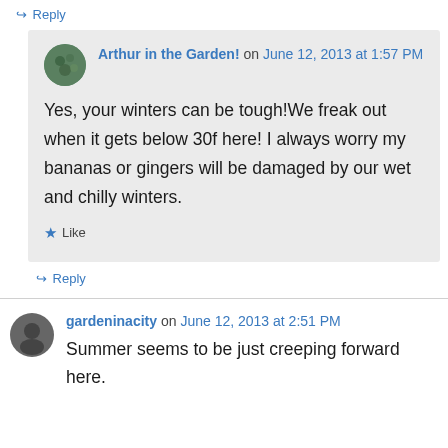↪ Reply
Arthur in the Garden! on June 12, 2013 at 1:57 PM
Yes, your winters can be tough!We freak out when it gets below 30f here! I always worry my bananas or gingers will be damaged by our wet and chilly winters.
★ Like
↪ Reply
gardeninacity on June 12, 2013 at 2:51 PM
Summer seems to be just creeping forward here.